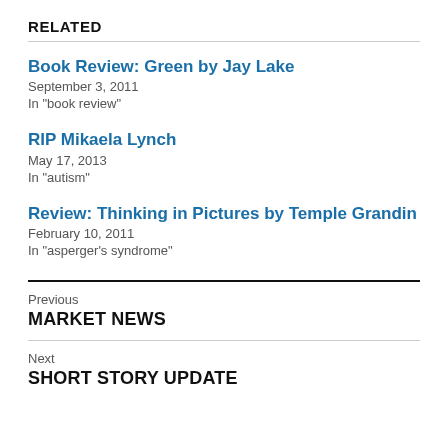RELATED
Book Review: Green by Jay Lake
September 3, 2011
In "book review"
RIP Mikaela Lynch
May 17, 2013
In "autism"
Review: Thinking in Pictures by Temple Grandin
February 10, 2011
In "asperger's syndrome"
Previous
MARKET NEWS
Next
SHORT STORY UPDATE